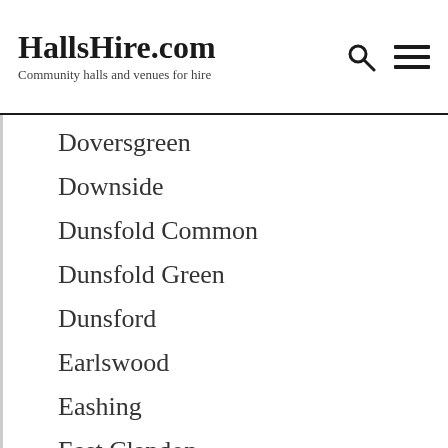HallsHire.com — Community halls and venues for hire
Doversgreen
Downside
Dunsfold Common
Dunsfold Green
Dunsford
Earlswood
Eashing
East Clandon
East Ewell
East Horsley
East Molesey
Eden
Effingham
Egham
Egham Hythe
Egham Wick